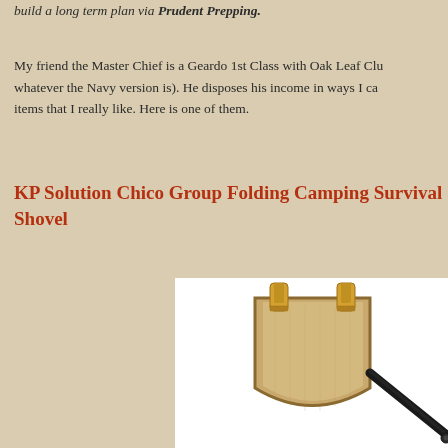build a long term plan via Prudent Prepping.
My friend the Master Chief is a Geardo 1st Class with Oak Leaf Clusters (or whatever the Navy version is). He disposes his income in ways I can't, but he does find items that I really like. Here is one of them.
KP Solution Chico Group Folding Camping Survival Shovel
[Figure (photo): A tan/khaki folding camping shovel head in its fabric pouch/cover, with a black metal handle extending to the lower right. The shovel blade is rounded and housed in a beige canvas-like carrier with two yellow fabric loops at the top.]